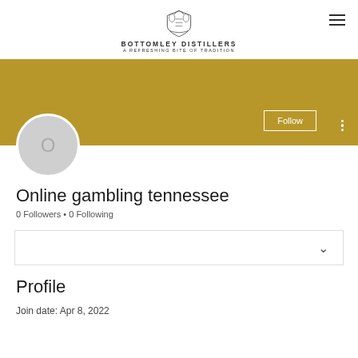[Figure (logo): Bottomley Distillers heraldic crest logo with text 'BOTTOMLEY DISTILLERS' and tagline 'A REFRESHING BITE OF TRADITION']
[Figure (screenshot): User profile banner with golden/dark yellow background, a Follow button with white border, vertical three-dot menu, and a circular avatar placeholder with letter O]
Online gambling tennessee
0 Followers • 0 Following
[Figure (screenshot): Dropdown selector box with a chevron/down arrow on the right]
Profile
Join date: Apr 8, 2022